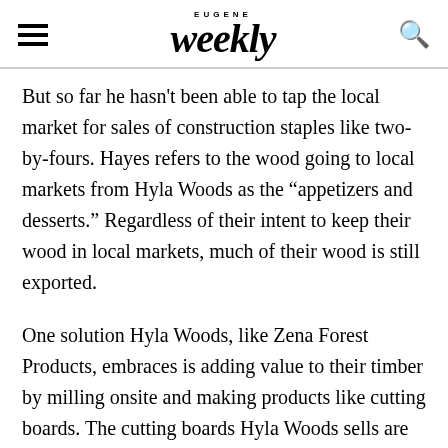EUGENE Weekly
But so far he hasn't been able to tap the local market for sales of construction staples like two-by-fours. Hayes refers to the wood going to local markets from Hyla Woods as the “appetizers and desserts.” Regardless of their intent to keep their wood in local markets, much of their wood is still exported.
One solution Hyla Woods, like Zena Forest Products, embraces is adding value to their timber by milling onsite and making products like cutting boards. The cutting boards Hyla Woods sells are stamped with the coordinates of the forest they were harvested from. Hayes